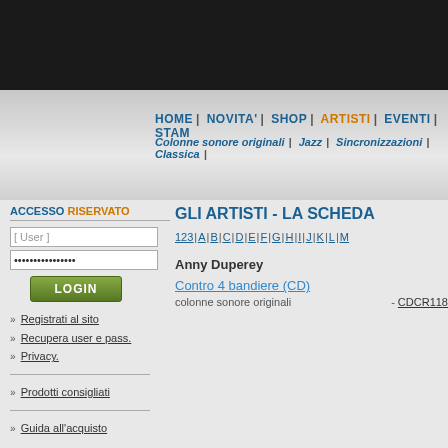HOME | NOVITA' | SHOP | ARTISTI | EVENTI | STAM...
Colonne sonore originali | Jazz | Sincronizzazioni | Classica |
ACCESSO RISERVATO
[ User ]
LOGIN
Registrati al sito
Recupera user e pass.
Privacy.
Prodotti consigliati
Guida all'acquisto
GLI ARTISTI - LA SCHEDA
123 | A | B | C | D | E | F | G | H | I | J | K | L | M...
Anny Duperey
Contro 4 bandiere (CD)
colonne sonore originali - CDCR118...